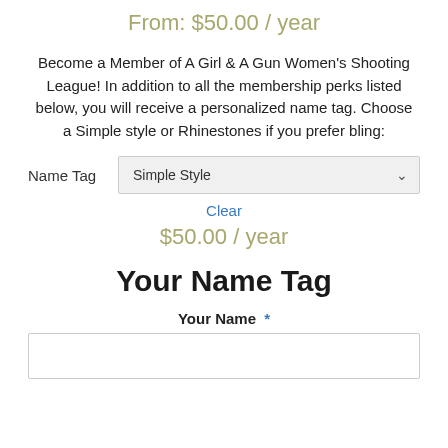From: $50.00 / year
Become a Member of A Girl & A Gun Women's Shooting League! In addition to all the membership perks listed below, you will receive a personalized name tag. Choose a Simple style or Rhinestones if you prefer bling:
Name Tag  [Simple Style dropdown]
Clear
$50.00 / year
Your Name Tag
Your Name *
[text input field]